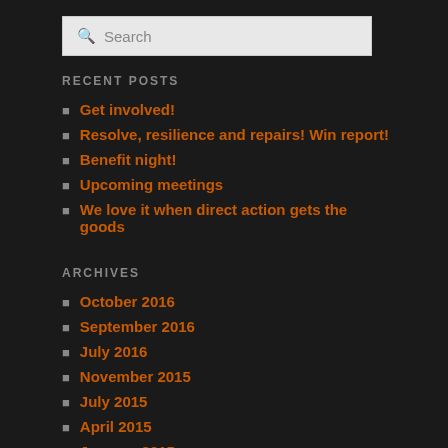Search
RECENT POSTS
Get involved!
Resolve, resilience and repairs! Win report!
Benefit night!
Upcoming meetings
We love it when direct action gets the goods
ARCHIVES
October 2016
September 2016
July 2016
November 2015
July 2015
April 2015
January 2015
December 2014